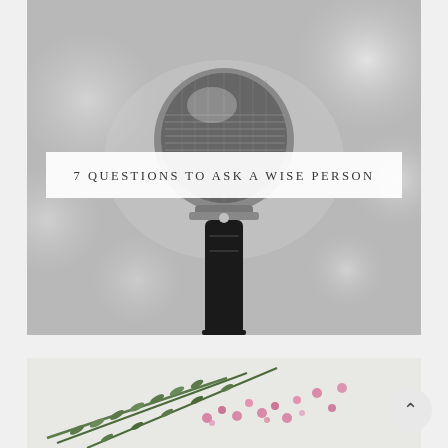[Figure (photo): Black and white photograph of a handheld microphone against a soft bokeh background with large blurred circular light spots]
7 QUESTIONS TO ASK A WISE PERSON
[Figure (photo): Partial photograph showing green herbs/flowers (appears to be rosemary and pink flowers) arranged on a light surface]